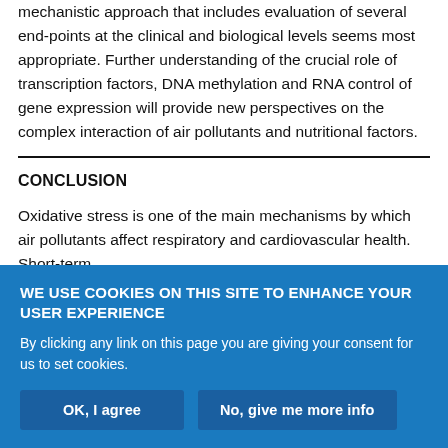mechanistic approach that includes evaluation of several end-points at the clinical and biological levels seems most appropriate. Further understanding of the crucial role of transcription factors, DNA methylation and RNA control of gene expression will provide new perspectives on the complex interaction of air pollutants and nutritional factors.
CONCLUSION
Oxidative stress is one of the main mechanisms by which air pollutants affect respiratory and cardiovascular health. Short-term
WE USE COOKIES ON THIS SITE TO ENHANCE YOUR USER EXPERIENCE
By clicking any link on this page you are giving your consent for us to set cookies.